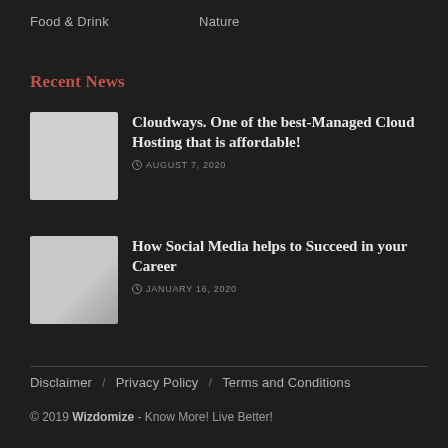Food & Drink    Nature
Recent News
Cloudways. One of the best-Managed Cloud Hosting that is affordable!
AUGUST 7, 2020
How Social Media helps to Succeed in your Career
JANUARY 16, 2020
Disclaimer / Privacy Policy / Terms and Conditions
© 2019 Wizdomize - Know More! Live Better!